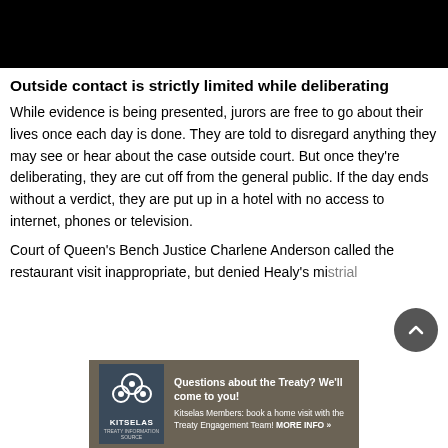[Figure (photo): Black rectangle image at top of page]
Outside contact is strictly limited while deliberating
While evidence is being presented, jurors are free to go about their lives once each day is done. They are told to disregard anything they may see or hear about the case outside court. But once they're deliberating, they are cut off from the general public. If the day ends without a verdict, they are put up in a hotel with no access to internet, phones or television.
Court of Queen's Bench Justice Charlene Anderson called the restaurant visit inappropriate, but denied Healy's mistrial
[Figure (infographic): Kitselas advertisement banner: Questions about the Treaty? We'll come to you! Kitselas Members: book a home visit with the Treaty Engagement Team! MORE INFO »]